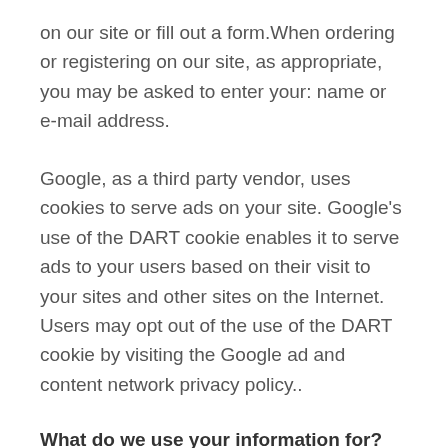on our site or fill out a form.When ordering or registering on our site, as appropriate, you may be asked to enter your: name or e-mail address.
Google, as a third party vendor, uses cookies to serve ads on your site. Google’s use of the DART cookie enables it to serve ads to your users based on their visit to your sites and other sites on the Internet. Users may opt out of the use of the DART cookie by visiting the Google ad and content network privacy policy..
What do we use your information for?
Any of the information we collect from you may be used in one of the following ways: